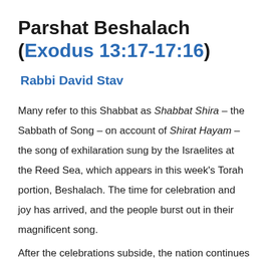Parshat Beshalach (Exodus 13:17-17:16)
Rabbi David Stav
Many refer to this Shabbat as Shabbat Shira – the Sabbath of Song – on account of Shirat Hayam – the song of exhilaration sung by the Israelites at the Reed Sea, which appears in this week's Torah portion, Beshalach. The time for celebration and joy has arrived, and the people burst out in their magnificent song.
After the celebrations subside, the nation continues its trek through the desert, stopping at a place where no water could be